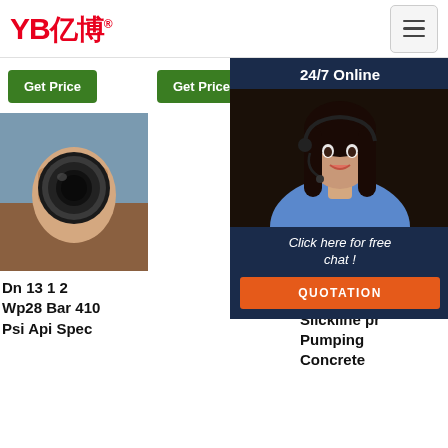YB亿博® — navigation header with hamburger menu
Wear Plate And Wear...
Get Price
Get Price
Get Price (partial)
[Figure (photo): Close-up of a hand holding a black rubber hose end showing interior bore]
[Figure (photo): Customer service representative woman wearing headset smiling, with 24/7 Online chat widget overlay showing 'Click here for free chat!' and QUOTATION button]
[Figure (photo): Circular concrete pump part/slickline, partially visible with orange loading spinner dots overlay]
Dn 13 1 2 Wp28 Bar 410 Psi Api Spec
Slickline pr Pumping Concrete